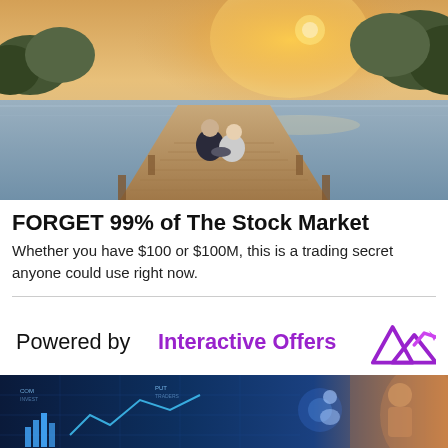[Figure (photo): Elderly couple sitting on a wooden dock by a lake at sunset, viewed from behind]
FORGET 99% of The Stock Market
Whether you have $100 or $100M, this is a trading secret anyone could use right now.
[Figure (logo): Powered by Interactive Offers logo with mountain/chart icon in purple]
[Figure (photo): Blue-toned digital finance and technology collage with charts, data, and person silhouette]